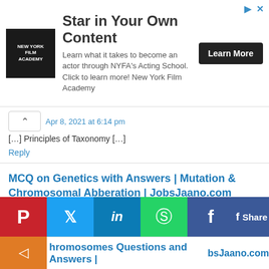[Figure (other): Advertisement banner for New York Film Academy Acting School with logo, text, and Learn More button]
Apr 8, 2021 at 6:14 pm
[…] Principles of Taxonomy […]
Reply
MCQ on Genetics with Answers | Mutation & Chromosomal Abberation | JobsJaano.com
Apr 8, 2021 at 6:21 pm
[…] Principles of Taxonomy […]
Reply
hromosomes Questions and Answers | bsJaano.com